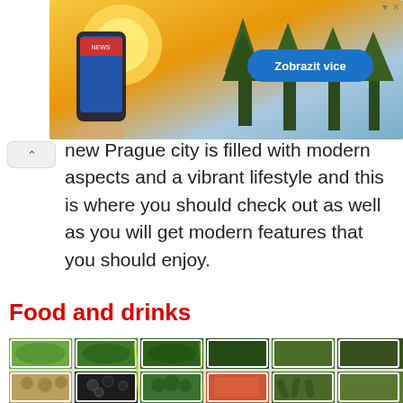[Figure (photo): Mobile app advertisement banner showing a hand holding a smartphone with a sunny outdoor background and pine trees. Blue button labeled 'Zobrazit vice' on the right side.]
new Prague city is filled with modern aspects and a vibrant lifestyle and this is where you should check out as well as you will get modern features that you should enjoy.
Food and drinks
[Figure (photo): Overhead photo of multiple white square bowls containing various foods: leafy greens, spinach, kale, walnuts, black olives, broccoli, tomatoes, and other vegetables.]